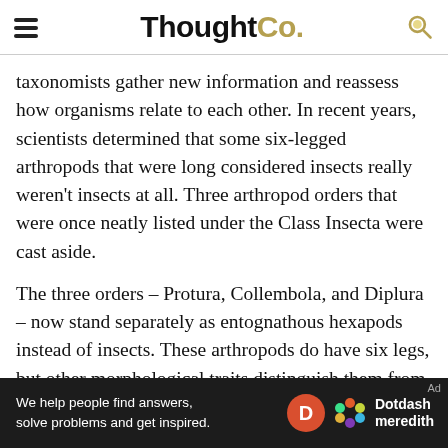ThoughtCo.
taxonomists gather new information and reassess how organisms relate to each other. In recent years, scientists determined that some six-legged arthropods that were long considered insects really weren't insects at all. Three arthropod orders that were once neatly listed under the Class Insecta were cast aside.
The three orders – Protura, Collembola, and Diplura – now stand separately as entognathous hexapods instead of insects. These arthropods do have six legs, but other morphological traits distinguish them from their insect cousins. The most important trait they share is mouthparts that are retracted and concealed within the head (which is what the term entognathous means). The Collembola, or springtails, are the
[Figure (other): Dotdash Meredith advertisement banner: 'We help people find answers, solve problems and get inspired.']